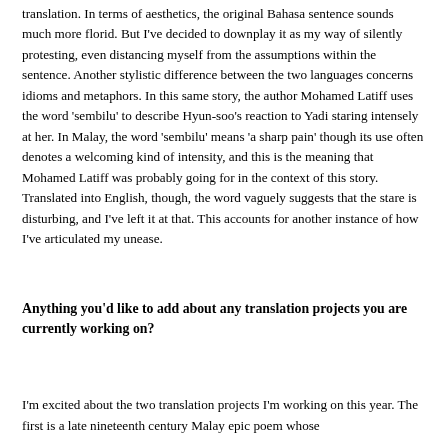translation. In terms of aesthetics, the original Bahasa sentence sounds much more florid. But I've decided to downplay it as my way of silently protesting, even distancing myself from the assumptions within the sentence. Another stylistic difference between the two languages concerns idioms and metaphors. In this same story, the author Mohamed Latiff uses the word 'sembilu' to describe Hyun-soo's reaction to Yadi staring intensely at her. In Malay, the word 'sembilu' means 'a sharp pain' though its use often denotes a welcoming kind of intensity, and this is the meaning that Mohamed Latiff was probably going for in the context of this story. Translated into English, though, the word vaguely suggests that the stare is disturbing, and I've left it at that. This accounts for another instance of how I've articulated my unease.
Anything you'd like to add about any translation projects you are currently working on?
I'm excited about the two translation projects I'm working on this year. The first is a late nineteenth century Malay epic poem whose